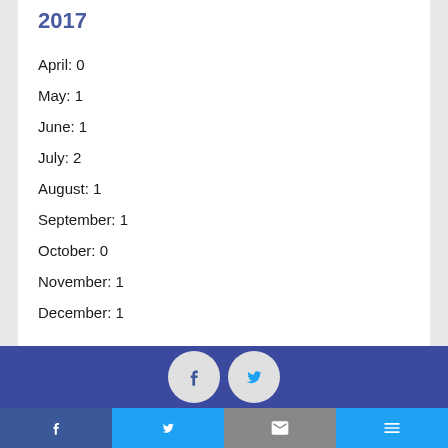2017
April: 0
May: 1
June: 1
July: 2
August: 1
September: 1
October: 0
November: 1
December: 1
[Figure (other): Social media footer bar with Facebook and Twitter circle icons on dark blue background, and bottom navigation bar with Facebook, Twitter, email, and menu icons]
Facebook | Twitter | Email | Menu